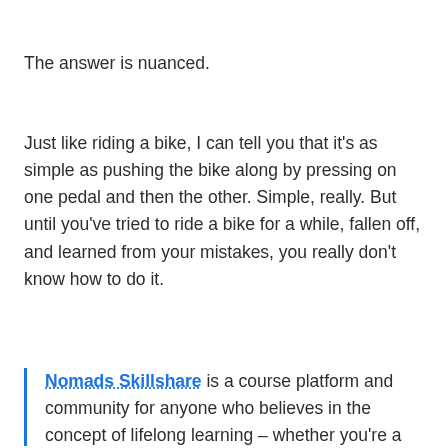The answer is nuanced.
Just like riding a bike, I can tell you that it’s as simple as pushing the bike along by pressing on one pedal and then the other. Simple, really. But until you’ve tried to ride a bike for a while, fallen off, and learned from your mistakes, you really don’t know how to do it.
Nomads Skillshare is a course platform and community for anyone who believes in the concept of lifelong learning – whether you’re a digital nomad, working remotely, or simply